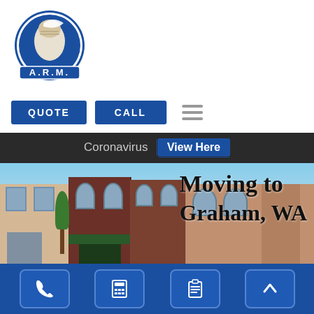[Figure (logo): A.R.M. moving company logo — circular blue/navy emblem with muscular arm holding a banner, letters A.R.M. below]
[Figure (screenshot): Website navigation bar with two blue buttons labeled QUOTE and CALL, and a hamburger menu icon]
[Figure (screenshot): Dark banner bar with text 'Coronavirus' and a blue 'View Here' button]
[Figure (photo): Street-level photo of brick storefronts in a small town with overlay text 'Moving to Graham, WA']
[Figure (screenshot): Bottom navigation bar with four icon buttons: phone, calculator, clipboard, and up-arrow, on a dark blue background]